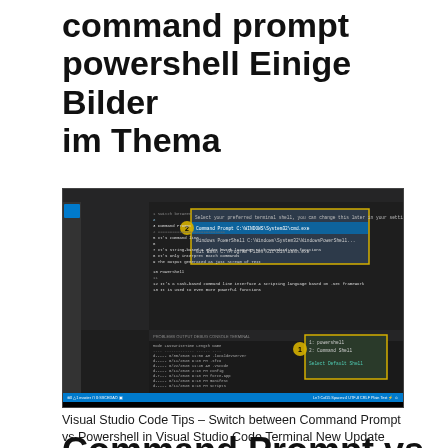command prompt powershell Einige Bilder im Thema
[Figure (screenshot): Visual Studio Code screenshot showing terminal selection dropdown with Command Prompt, Windows PowerShell, and Git Bash options highlighted, along with a file explorer panel and terminal shell picker.]
Visual Studio Code Tips – Switch between Command Prompt vs Powershell in Visual Studio Code Terminal New Update
Command Prompt vs